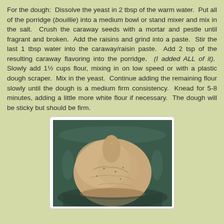For the dough:  Dissolve the yeast in 2 tbsp of the warm water.  Put all of the porridge (bouillie) into a medium bowl or stand mixer and mix in the salt.  Crush the caraway seeds with a mortar and pestle until fragrant and broken.  Add the raisins and grind into a paste.  Stir the last 1 tbsp water into the caraway/raisin paste.  Add 2 tsp of the resulting caraway flavoring into the porridge.  (I added ALL of it).  Slowly add 1½ cups flour, mixing in on low speed or with a plastic dough scraper.  Mix in the yeast.  Continue adding the remaining flour slowly until the dough is a medium firm consistency.  Knead for 5-8 minutes, adding a little more white flour if necessary.  The dough will be sticky but should be firm.
[Figure (photo): A ball of bread dough sitting in a dark green mixing bowl, showing a medium-firm sticky dough with a rough textured surface.]